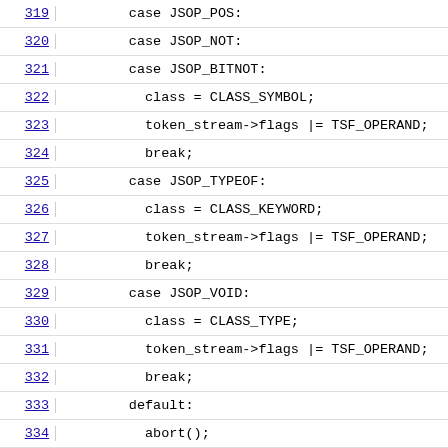319  case JSOP_POS:
320  case JSOP_NOT:
321  case JSOP_BITNOT:
322    class = CLASS_SYMBOL;
323    token_stream->flags |= TSF_OPERAND;
324    break;
325  case JSOP_TYPEOF:
326    class = CLASS_KEYWORD;
327    token_stream->flags |= TSF_OPERAND;
328    break;
329  case JSOP_VOID:
330    class = CLASS_TYPE;
331    token_stream->flags |= TSF_OPERAND;
332    break;
333  default:
334    abort();
335  }
336  break;
337  case TOK_INC:
338  case TOK_DEC:
339  case TOK_DOT:
340  case TOK_LB: